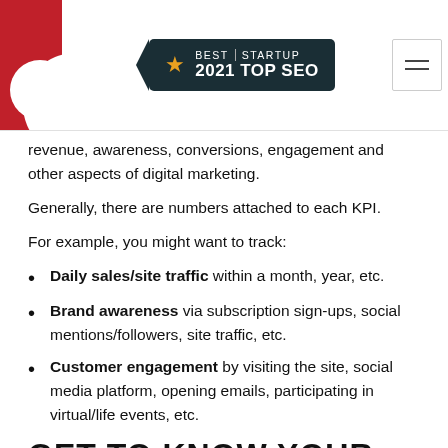Best Startup 2021 Top SEO
revenue, awareness, conversions, engagement and other aspects of digital marketing.
Generally, there are numbers attached to each KPI.
For example, you might want to track:
Daily sales/site traffic within a month, year, etc.
Brand awareness via subscription sign-ups, social mentions/followers, site traffic, etc.
Customer engagement by visiting the site, social media platform, opening emails, participating in virtual/life events, etc.
GET TO KNOW YOUR